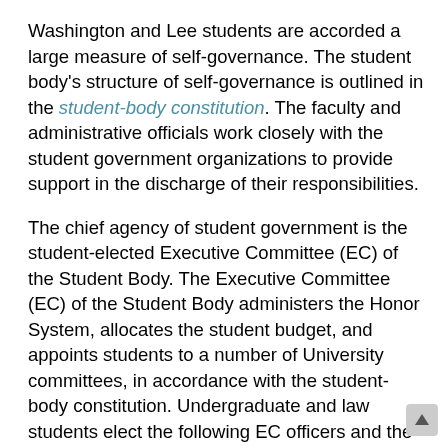Washington and Lee students are accorded a large measure of self-governance. The student body's structure of self-governance is outlined in the student-body constitution. The faculty and administrative officials work closely with the student government organizations to provide support in the discharge of their responsibilities.
The chief agency of student government is the student-elected Executive Committee (EC) of the Student Body. The Executive Committee (EC) of the Student Body administers the Honor System, allocates the student budget, and appoints students to a number of University committees, in accordance with the student-body constitution. Undergraduate and law students elect the following EC officers and the class representatives each year: President, Vice President and Secretary, one representative from the First-Year class, and each Law School class, and two representatives each for the Sophomore, Junior and Senior classes.
Consideration of possible breaches of the Honor System is a primary function of the Executive Committee. The Honor System at Washington and Lee is based on the